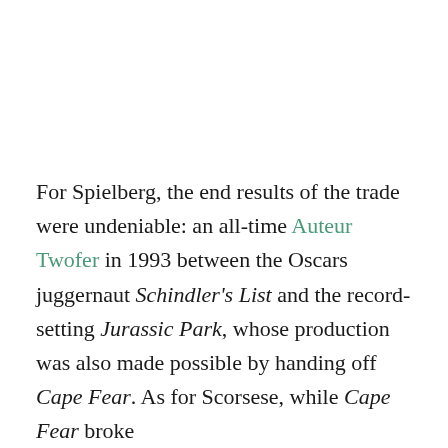For Spielberg, the end results of the trade were undeniable: an all-time Auteur Twofer in 1993 between the Oscars juggernaut Schindler's List and the record-setting Jurassic Park, whose production was also made possible by handing off Cape Fear. As for Scorsese, while Cape Fear broke